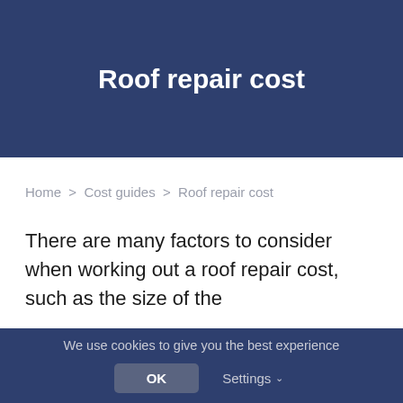Roof repair cost
Home > Cost guides > Roof repair cost
There are many factors to consider when working out a roof repair cost, such as the size of the
We use cookies to give you the best experience